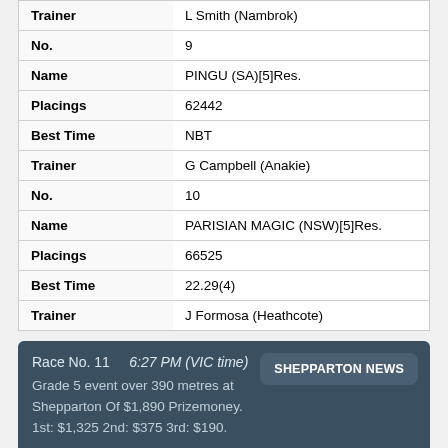| Field | Value |
| --- | --- |
| Trainer | L Smith (Nambrok) |
| No. | 9 |
| Name | PINGU (SA)[5]Res. |
| Placings | 62442 |
| Best Time | NBT |
| Trainer | G Campbell (Anakie) |
| No. | 10 |
| Name | PARISIAN MAGIC (NSW)[5]Res. |
| Placings | 66525 |
| Best Time | 22.29(4) |
| Trainer | J Formosa (Heathcote) |
Race No. 11    6:27 PM (VIC time)
Grade 5 event over 390 metres at Shepparton Of $1,890 Prizemoney. 1st: $1,325 2nd: $375 3rd: $190.
SHEPPARTON NEWS